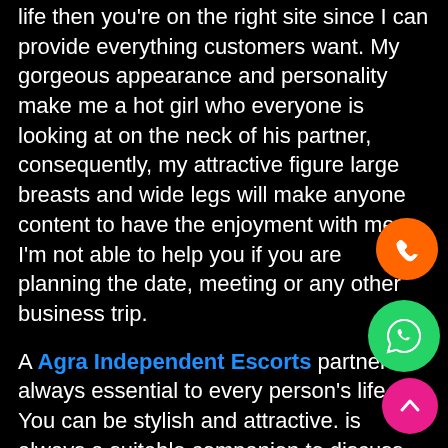life then you're on the right site since I can provide everything customers want. My gorgeous appearance and personality make me a hot girl who everyone is looking at on the neck of his partner, consequently, my attractive figure large breasts and wide legs will make anyone content to have the enjoyment with me. I'm not able to help you if you are planning the date, meeting or any other business trip.

A Agra Independent Escorts partner is always essential to every person's life. You can be stylish and attractive. is always a suitable companion to discuss their issues and come up with the best solution. Mahi Verma is the ideal partner to meet for those who are in Agra and are looking for a great partner. She is working as an Independent Agra Call Girls when we speak of Mahi. With her face and voice, she is beautiful that instantly entices all kinds of people.